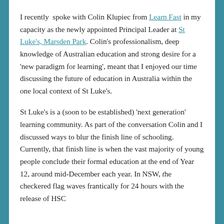I recently spoke with Colin Klupiec from Learn Fast in my capacity as the newly appointed Principal Leader at St Luke's, Marsden Park. Colin's professionalism, deep knowledge of Australian education and strong desire for a 'new paradigm for learning', meant that I enjoyed our time discussing the future of education in Australia within the one local context of St Luke's.
St Luke's is a (soon to be established) 'next generation' learning community. As part of the conversation Colin and I discussed ways to blur the finish line of schooling. Currently, that finish line is when the vast majority of young people conclude their formal education at the end of Year 12, around mid-December each year. In NSW, the checkered flag waves frantically for 24 hours with the release of HSC